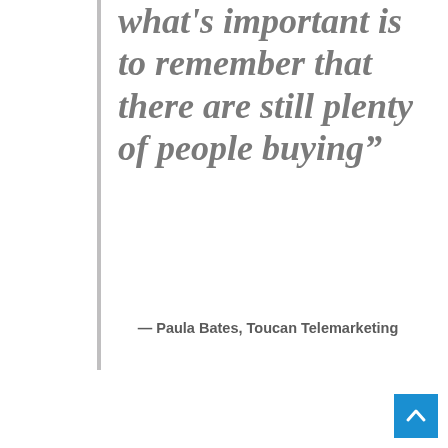what's important is to remember that there are still plenty of people buying"
— Paula Bates, Toucan Telemarketing